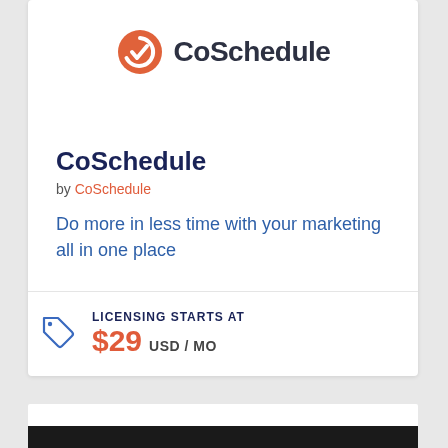[Figure (logo): CoSchedule logo with orange checkmark circle icon and dark text]
CoSchedule
by CoSchedule
Do more in less time with your marketing all in one place
LICENSING STARTS AT $29 USD / MO